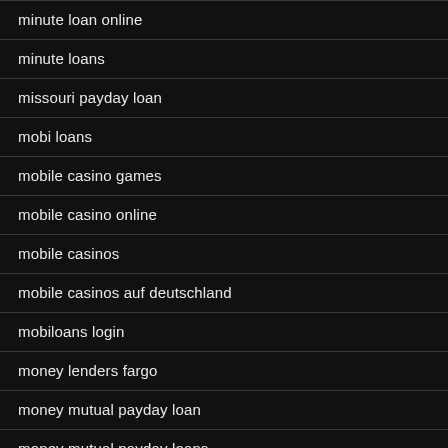minute loan online
minute loans
missouri payday loan
mobi loans
mobile casino games
mobile casino online
mobile casinos
mobile casinos auf deutschland
mobiloans login
money lenders fargo
money mutual payday loan
money mutual payday loans